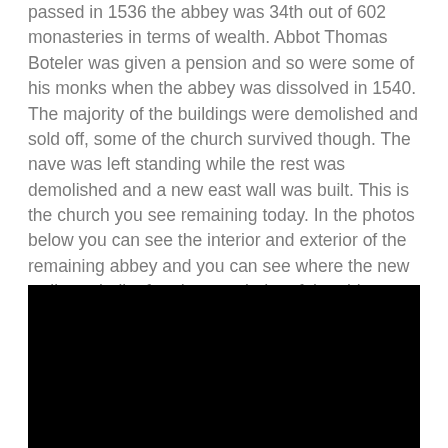passed in 1536 the abbey was 34th out of 602 monasteries in terms of wealth. Abbot Thomas Boteler was given a pension and so were some of his monks when the abbey was dissolved in 1540. The majority of the buildings were demolished and sold off, some of the church survived though. The nave was left standing while the rest was demolished and a new east wall was built. This is the church you see remaining today. In the photos below you can see the interior and exterior of the remaining abbey and you can see where the new wall was built after the remainder of the abbey was demolished.
[Figure (photo): A black rectangle representing a photo placeholder of the abbey interior or exterior.]